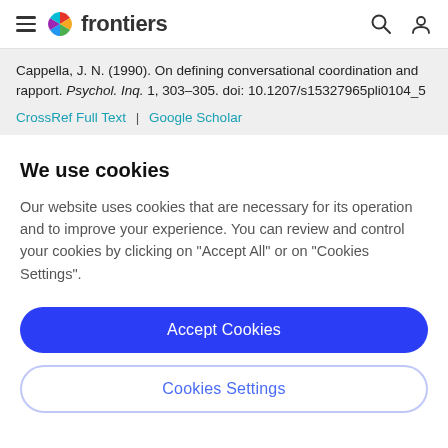frontiers
Cappella, J. N. (1990). On defining conversational coordination and rapport. Psychol. Inq. 1, 303–305. doi: 10.1207/s15327965pli0104_5
CrossRef Full Text | Google Scholar
We use cookies
Our website uses cookies that are necessary for its operation and to improve your experience. You can review and control your cookies by clicking on "Accept All" or on "Cookies Settings".
Accept Cookies
Cookies Settings